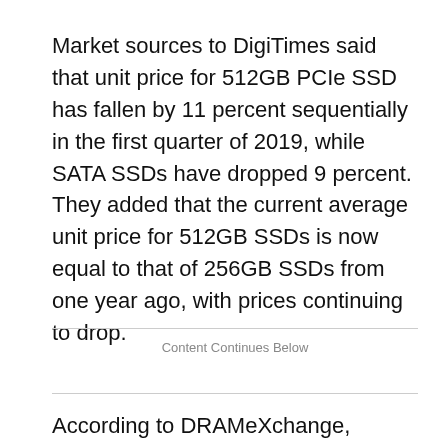Market sources to DigiTimes said that unit price for 512GB PCIe SSD has fallen by 11 percent sequentially in the first quarter of 2019, while SATA SSDs have dropped 9 percent. They added that the current average unit price for 512GB SSDs is now equal to that of 256GB SSDs from one year ago, with prices continuing to drop.
Content Continues Below
According to DRAMeXchange, NAND flash contract prices will continue falling but at a slower rate in the second quarter of 2019. Memory makers are cutting production to avoid losing any more profits.